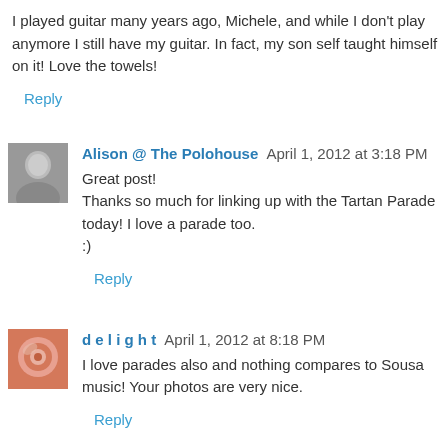I played guitar many years ago, Michele, and while I don't play anymore I still have my guitar. In fact, my son self taught himself on it! Love the towels!
Reply
Alison @ The Polohouse  April 1, 2012 at 3:18 PM
Great post!
Thanks so much for linking up with the Tartan Parade today! I love a parade too.
:)
Reply
d e l i g h t  April 1, 2012 at 8:18 PM
I love parades also and nothing compares to Sousa music! Your photos are very nice.
Reply